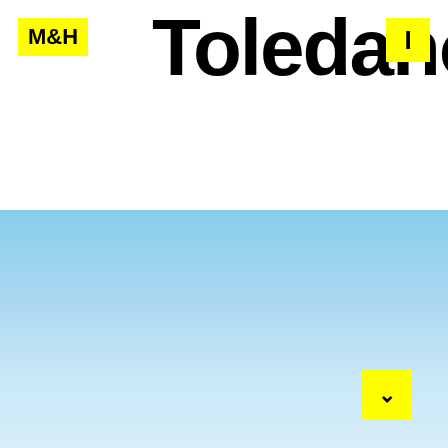M&H Toledano I
[Figure (illustration): Bottom half of page is a light blue gradient background, transitioning from medium sky blue at the top to a very pale almost white blue at the bottom.]
v (navigation arrow down)